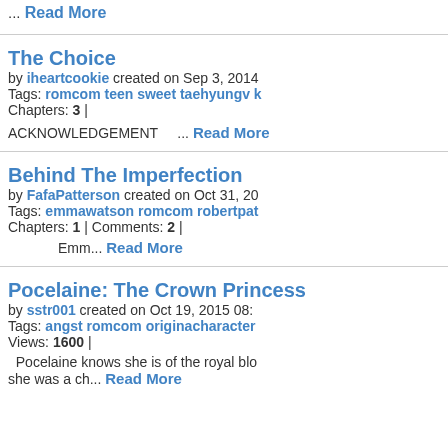... Read More
The Choice by iheartcookie created on Sep 3, 2014 Tags: romcom teen sweet taehyungv | Chapters: 3 | ACKNOWLEDGEMENT ... Read More
Behind The Imperfection by FafaPatterson created on Oct 31, 20... Tags: emmawatson romcom robertpa... Chapters: 1 | Comments: 2 | Emm... Read More
Pocelaine: The Crown Princess by sstr001 created on Oct 19, 2015 08:... Tags: angst romcom originacharacter... Views: 1600 | Pocelaine knows she is of the royal blo... she was a ch... Read More